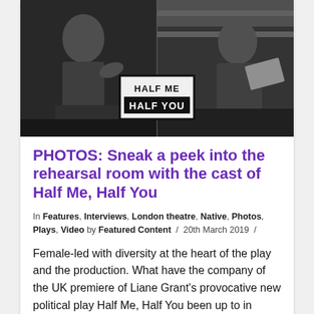[Figure (photo): Black and white composite photo showing two scenes from a theatre rehearsal. Left half: a woman talking/gesturing. Right half: a woman leaning back laughing. Overlaid in the center is a logo that reads 'HALF ME / HALF YOU' in bold block letters with a white/black bordered box.]
PHOTOS: Sneak a peek into the rehearsal room with the cast of Half Me, Half You
In Features, Interviews, London theatre, Native, Photos, Plays, Video by Featured Content / 20th March 2019 /
Female-led with diversity at the heart of the play and the production. What have the company of the UK premiere of Liane Grant's provocative new political play Half Me, Half You been up to in rehearsal? Scroll through our gallery of fun